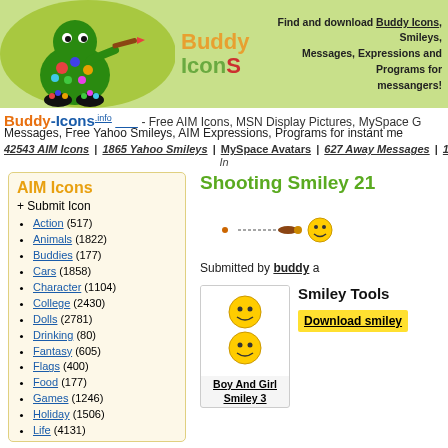[Figure (screenshot): Buddy Icons website header with cartoon illustration, colorful logo text 'Buddy Icons' and site description]
Buddy-Icons .info - Free AIM Icons, MSN Display Pictures, MySpace G Messages, Free Yahoo Smileys, AIM Expressions, Programs for instant me
42543 AIM Icons | 1865 Yahoo Smileys | MySpace Avatars | 627 Away Messages | 11 AIM E In
AIM Icons
+ Submit Icon
Action (517)
Animals (1822)
Buddies (177)
Cars (1858)
Character (1104)
College (2430)
Dolls (2781)
Drinking (80)
Fantasy (605)
Flags (400)
Food (177)
Games (1246)
Holiday (1506)
Life (4131)
Love (1078)
Movies (8581)
Music (1520)
Names (1045)
Other (662)
Shooting Smiley 21
[Figure (illustration): Animated shooting smiley - small dot on left, bullet/projectile moving right toward smiley face]
Submitted by buddy a
[Figure (illustration): Boy And Girl Smiley 3 - two smiley face icons stacked]
Boy And Girl Smiley 3
Smiley Tools
Download smiley